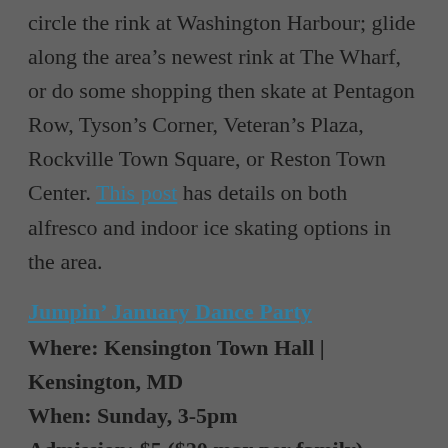circle the rink at Washington Harbour; glide along the area's newest rink at The Wharf, or do some shopping then skate at Pentagon Row, Tyson's Corner, Veteran's Plaza, Rockville Town Square, or Reston Town Center. This post has details on both alfresco and indoor ice skating options in the area.
Jumpin' January Dance Party
Where: Kensington Town Hall | Kensington, MD
When: Sunday, 3-5pm
Admission: $5 ($20 max per family)
Families are invited to a dance party to kick off the 125th birthday year of